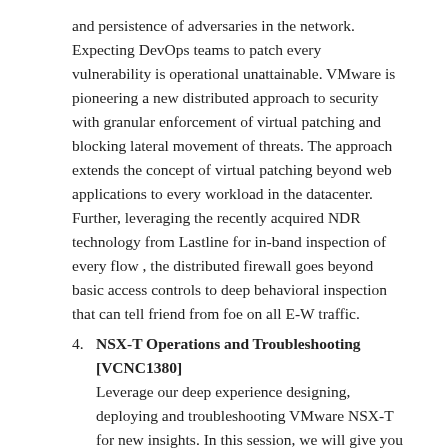and persistence of adversaries in the network. Expecting DevOps teams to patch every vulnerability is operational unattainable. VMware is pioneering a new distributed approach to security with granular enforcement of virtual patching and blocking lateral movement of threats. The approach extends the concept of virtual patching beyond web applications to every workload in the datacenter. Further, leveraging the recently acquired NDR technology from Lastline for in-band inspection of every flow, the distributed firewall goes beyond basic access controls to deep behavioral inspection that can tell friend from foe on all E-W traffic.
NSX-T Operations and Troubleshooting [VCNC1380] Leverage our deep experience designing, deploying and troubleshooting VMware NSX-T for new insights. In this session, we will give you an end-to-end view of